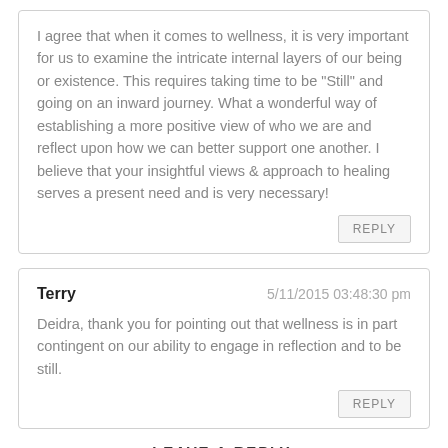I agree that when it comes to wellness, it is very important for us to examine the intricate internal layers of our being or existence. This requires taking time to be "Still" and going on an inward journey. What a wonderful way of establishing a more positive view of who we are and reflect upon how we can better support one another. I believe that your insightful views & approach to healing serves a present need and is very necessary!
REPLY
Terry
5/11/2015 03:48:30 pm
Deidra, thank you for pointing out that wellness is in part contingent on our ability to engage in reflection and to be still.
REPLY
LEAVE A REPLY.
Name (required)